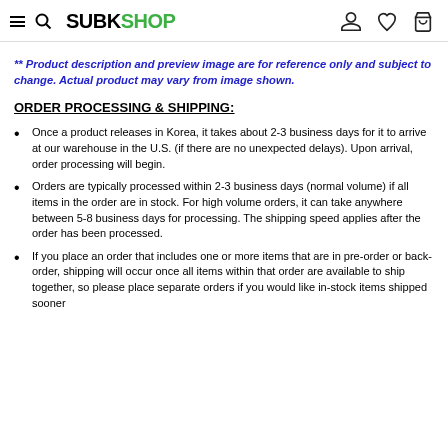SUBKSHOP
** Product description and preview image are for reference only and subject to change. Actual product may vary from image shown.
ORDER PROCESSING & SHIPPING:
Once a product releases in Korea, it takes about 2-3 business days for it to arrive at our warehouse in the U.S. (if there are no unexpected delays). Upon arrival, order processing will begin.
Orders are typically processed within 2-3 business days (normal volume) if all items in the order are in stock. For high volume orders, it can take anywhere between 5-8 business days for processing. The shipping speed applies after the order has been processed.
If you place an order that includes one or more items that are in pre-order or back-order, shipping will occur once all items within that order are available to ship together, so please place separate orders if you would like in-stock items shipped sooner